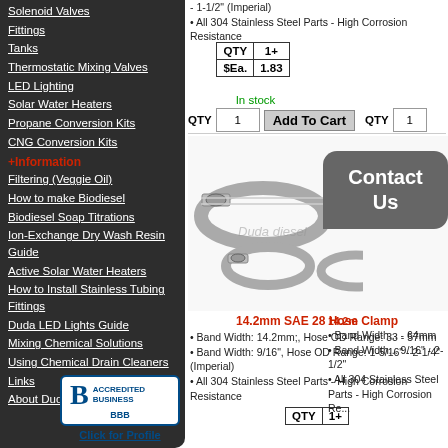Solenoid Valves
Fittings
Tanks
Thermostatic Mixing Valves
LED Lighting
Solar Water Heaters
Propane Conversion Kits
CNG Conversion Kits
+Information
Filtering (Veggie Oil)
How to make Biodiesel
Biodiesel Soap Titrations
Ion-Exchange Dry Wash Resin Guide
Active Solar Water Heaters
How to Install Stainless Tubing Fittings
Duda LED Lights Guide
Mixing Chemical Solutions
Using Chemical Drain Cleaners
Links
About Duda Diesel
[Figure (logo): BBB Accredited Business badge with Click for Profile text]
Band Width: 9/16" (3/16" Range: 21: 1-1/2" (Imperial)
• All 304 Stainless Steel Parts - High Corrosion Resistance
| QTY | 1+ |
| --- | --- |
| $Ea. | 1.83 |
In stock
QTY 1  Add To Cart  QTY 1
[Figure (photo): Stainless steel hose clamps of various sizes with Contact Us speech bubble overlay]
14.2mm SAE 28 Hose Clamp
• Band Width: 14.2mm;, Hose OD Range: 33 - 57mm
• Band Width: 9/16", Hose OD Range: 1-5/16" - 2-1/4" (Imperial)
• All 304 Stainless Steel Parts - High Corrosion Resistance
14.2m...
• Band Width... - 64mm
• Band Width... 9/16" - 2-1/2"
• All 304 Stainless Steel Parts - High Corrosion Re...
| QTY | 1+ |
| --- | --- |